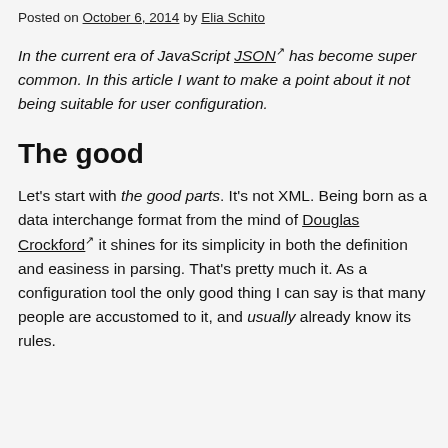Posted on October 6, 2014 by Elia Schito
In the current era of JavaScript JSON has become super common. In this article I want to make a point about it not being suitable for user configuration.
The good
Let's start with the good parts. It's not XML. Being born as a data interchange format from the mind of Douglas Crockford it shines for its simplicity in both the definition and easiness in parsing. That's pretty much it. As a configuration tool the only good thing I can say is that many people are accustomed to it, and usually already know its rules.